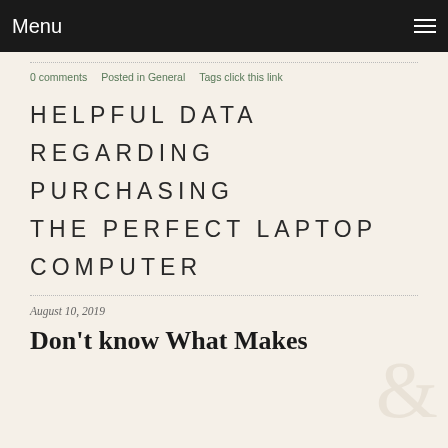Menu
0 comments   Posted in General   Tags click this link
HELPFUL DATA REGARDING PURCHASING THE PERFECT LAPTOP COMPUTER
August 10, 2019
Don't know What Makes